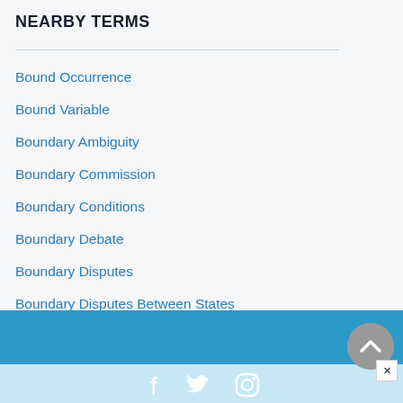NEARBY TERMS
Bound Occurrence
Bound Variable
Boundary Ambiguity
Boundary Commission
Boundary Conditions
Boundary Debate
Boundary Disputes
Boundary Disputes Between States
Social media icons: Facebook, Twitter, Instagram